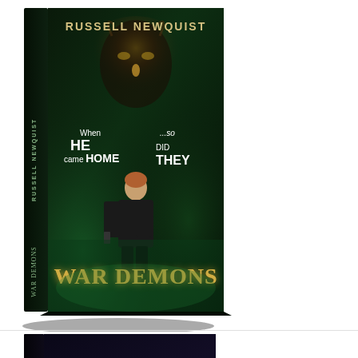[Figure (illustration): 3D rendered book cover of 'War Demons' by Russell Newquist. Dark green and black background with a glowing demonic face above, a man in a jacket standing in the center holding a weapon. Text on cover: 'RUSSELL NEWQUIST', 'When HE came HOME ...so DID THEY', 'WAR DEMONS'. Book shown at an angle with spine visible.]
[Figure (illustration): Partial view of a second book cover, also 'War Demons' by Russell Newquist, shown from a different angle. Dark purple/black background with 'RUSSELL NEWQUIST' text visible at the top.]